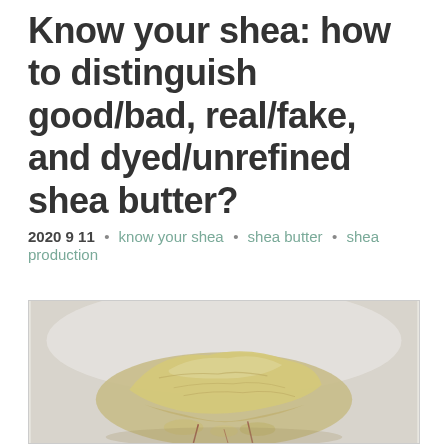Know your shea: how to distinguish good/bad, real/fake, and dyed/unrefined shea butter?
2020 9 11  •  know your shea  •  shea butter  •  shea production
[Figure (photo): Close-up photo of raw/unrefined shea butter chunk with creamy yellow-green color, showing rough textured surface, on a light background with slight red stems visible]